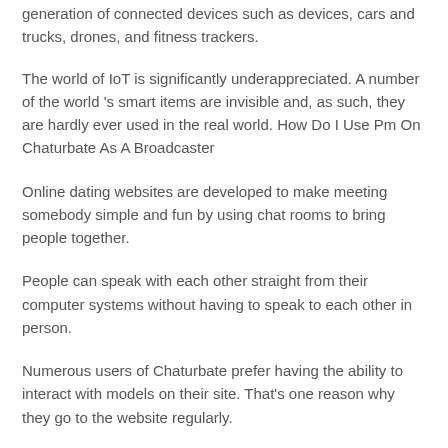generation of connected devices such as devices, cars and trucks, drones, and fitness trackers.
The world of IoT is significantly underappreciated. A number of the world 's smart items are invisible and, as such, they are hardly ever used in the real world. How Do I Use Pm On Chaturbate As A Broadcaster
Online dating websites are developed to make meeting somebody simple and fun by using chat rooms to bring people together.
People can speak with each other straight from their computer systems without having to speak to each other in person.
Numerous users of Chaturbate prefer having the ability to interact with models on their site. That's one reason why they go to the website regularly.
Other users like to see the videos of live broadcasts. It provides a